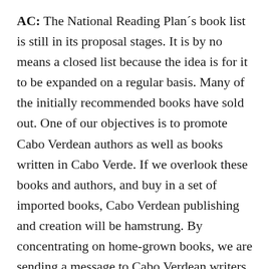AC: The National Reading Plan´s book list is still in its proposal stages. It is by no means a closed list because the idea is for it to be expanded on a regular basis. Many of the initially recommended books have sold out. One of our objectives is to promote Cabo Verdean authors as well as books written in Cabo Verde. If we overlook these books and authors, and buy in a set of imported books, Cabo Verdean publishing and creation will be hamstrung. By concentrating on home-grown books, we are sending a message to Cabo Verdean writers and editors that using the National Reading Plan´s